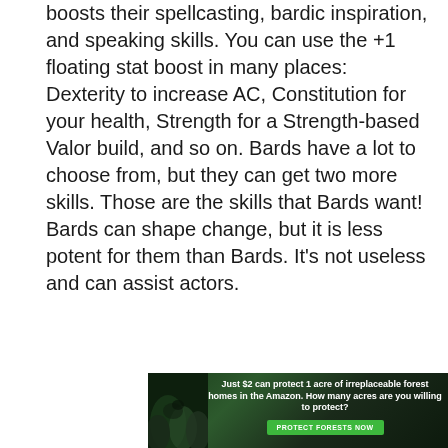boosts their spellcasting, bardic inspiration, and speaking skills. You can use the +1 floating stat boost in many places: Dexterity to increase AC, Constitution for your health, Strength for a Strength-based Valor build, and so on. Bards have a lot to choose from, but they can get two more skills. Those are the skills that Bards want! Bards can shape change, but it is less potent for them than Bards. It's not useless and can assist actors.
[Figure (infographic): Advertisement banner with dark forest background. Text reads: 'Just $2 can protect 1 acre of irreplaceable forest homes in the Amazon. How many acres are you willing to protect?' with a green 'PROTECT FORESTS NOW' button.]